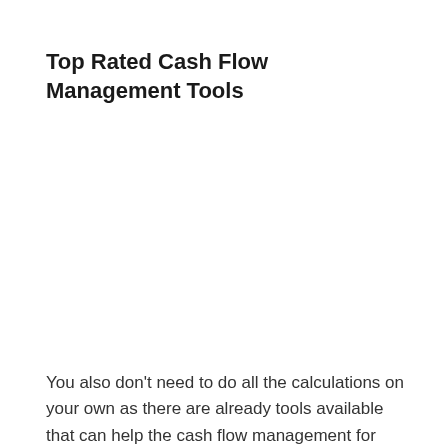Top Rated Cash Flow Management Tools
You also don't need to do all the calculations on your own as there are already tools available that can help the cash flow management for